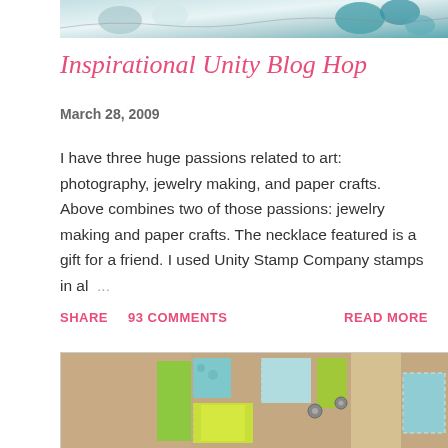[Figure (photo): Partial photo of jewelry with teal/turquoise beads on a light background, cropped at top]
Inspirational Unity Blog Hop
March 28, 2009
I have three huge passions related to art: photography, jewelry making, and paper crafts. Above combines two of those passions: jewelry making and paper crafts. The necklace featured is a gift for a friend. I used Unity Stamp Company stamps in al ...
SHARE   93 COMMENTS   READ MORE
[Figure (photo): Partial photo of a handmade craft/scrapbook item with patterned paper strips in teal, green, and lime yellow colors on a brown kraft background, with small metal brad embellishments]